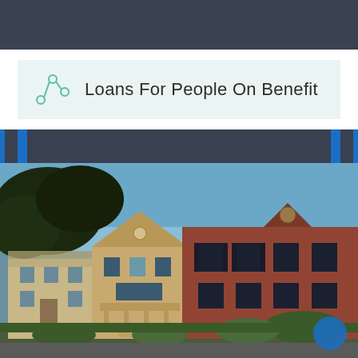Loans For People On Benefit
[Figure (other): Navigation bar with dark background and blue accent stripes on left and right sides]
[Figure (photo): Street view of a row of historic Victorian-style residential houses with a large brick house on the right, surrounded by trees, under a clear blue sky]